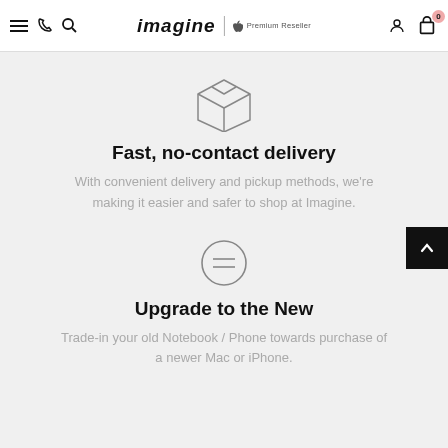imagine | Apple Premium Reseller — navigation bar with menu, phone, search, account, and cart icons
[Figure (illustration): Outline icon of a cardboard delivery box (3D perspective line art)]
Fast, no-contact delivery
With convenient delivery and pickup methods, we're making it easier and safer to shop at Imagine.
[Figure (illustration): Circular icon with two horizontal lines (equals sign) inside, representing trade-in or upgrade]
Upgrade to the New
Trade-in your old Notebook / Phone towards purchase of a newer Mac or iPhone.